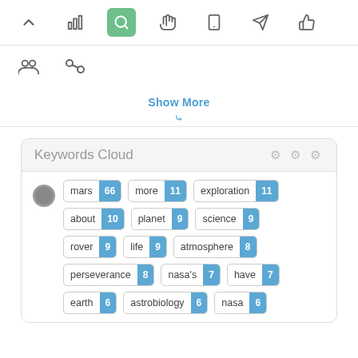[Figure (screenshot): Toolbar with navigation icons: up arrow, bar chart, search (active/green), pointer hand, tablet, rocket, thumbs up]
[Figure (screenshot): Second toolbar row with two icons: people/group icon and link/chain icon]
Show More
[Figure (infographic): Keywords Cloud panel showing keyword tags with counts: mars 66, more 11, exploration 11, about 10, planet 9, science 9, rover 9, life 9, atmosphere 8, perseverance 8, nasa's 7, have 7, earth 6, astrobiology 6, nasa 6]